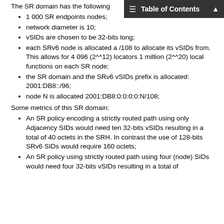The SR domain has the following
Table of Contents
1 000 SR endpoints nodes;
network diameter is 10;
vSIDs are chosen to be 32-bits long;
each SRv6 node is allocated a /108 to allocate its vSIDs from. This allows for 4 096 (2^^12) locators 1 million (2^^20) local functions on each SR node;
the SR domain and the SRv6 vSIDs prefix is allocated: 2001:DB8::/96;
node N is allocated 2001:DB8:0:0:0:0:N/108;
Some metrics of this SR domain:
An SR policy encoding a strictly routed path using only Adjacency SIDs would need ten 32-bits vSIDs resulting in a total of 40 octets in the SRH. In contrast the use of 128-bits SRv6 SIDs would require 160 octets;
An SR policy using strictly routed path using four (node) SIDs would need four 32-bits vSIDs resulting in a total of 16 octets in the SRH. In contrast the use of 128-bit...